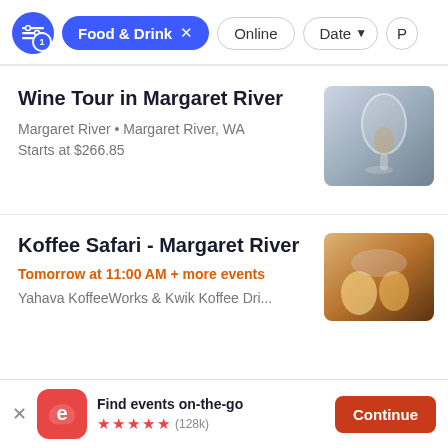[Figure (screenshot): Filter bar with active 'Food & Drink' filter, 'Online' pill, 'Date' dropdown pill, and partial pill at right edge]
Wine Tour in Margaret River
Margaret River • Margaret River, WA
Starts at $266.85
[Figure (photo): Wine glass being held up, close-up photo]
Koffee Safari - Margaret River
Tomorrow at 11:00 AM + more events
Yahava KoffeeWorks & Kwik Koffee Dri...
[Figure (photo): People sitting at a coffee shop, warm lighting]
Find events on-the-go
★★★★★ (128k)